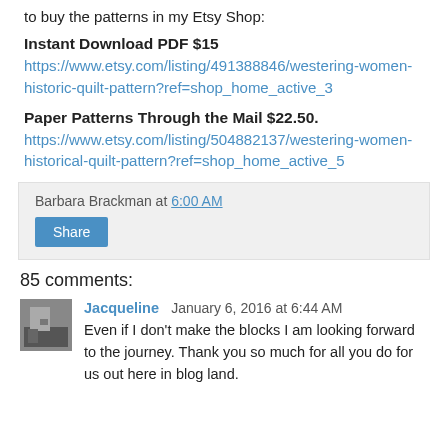to buy the patterns in my Etsy Shop:
Instant Download PDF $15
https://www.etsy.com/listing/491388846/westering-women-historic-quilt-pattern?ref=shop_home_active_3
Paper Patterns Through the Mail $22.50.
https://www.etsy.com/listing/504882137/westering-women-historical-quilt-pattern?ref=shop_home_active_5
Barbara Brackman at 6:00 AM
Share
85 comments:
Jacqueline  January 6, 2016 at 6:44 AM
Even if I don't make the blocks I am looking forward to the journey. Thank you so much for all you do for us out here in blog land.